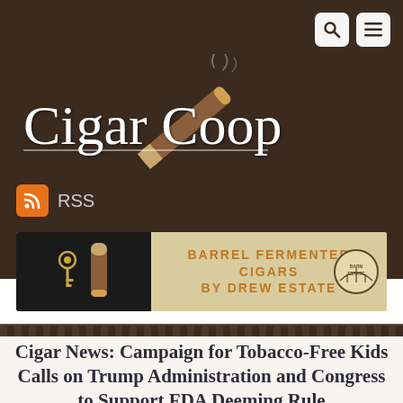[Figure (logo): Cigar Coop website logo with cursive text and illustrated cigar graphic on dark brown background]
[Figure (screenshot): RSS feed icon - orange square with white RSS symbol, followed by RSS text label]
[Figure (screenshot): Advertisement banner for Barrel Fermented Cigars by Drew Estate, dark left panel with key and cigar, tan right panel with orange text]
Cigar News: Campaign for Tobacco-Free Kids Calls on Trump Administration and Congress to Support FDA Deeming Rule